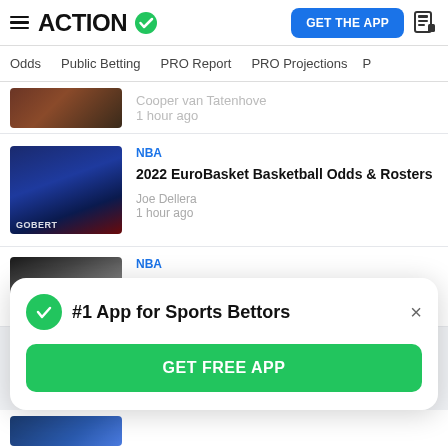ACTION
Odds  Public Betting  PRO Report  PRO Projections
Cooper van Tatenhove
1 hour ago
NBA
2022 EuroBasket Basketball Odds & Rosters
Joe Dellera
1 hour ago
NBA
EuroBasket Odds, Picks, Previews,
#1 App for Sports Bettors
GET FREE APP